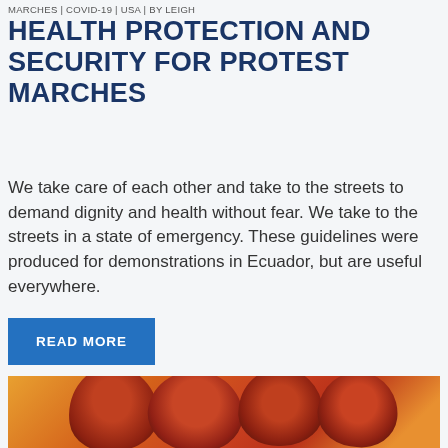MARCHES | COVID-19 | USA | BY LEIGH
HEALTH PROTECTION AND SECURITY FOR PROTEST MARCHES
We take care of each other and take to the streets to demand dignity and health without fear. We take to the streets in a state of emergency. These guidelines were produced for demonstrations in Ecuador, but are useful everywhere.
READ MORE
[Figure (illustration): Painting of figures/heads rendered in warm red, orange, and dark brown tones against a golden-yellow background, appearing to show people in a crowd or protest march.]